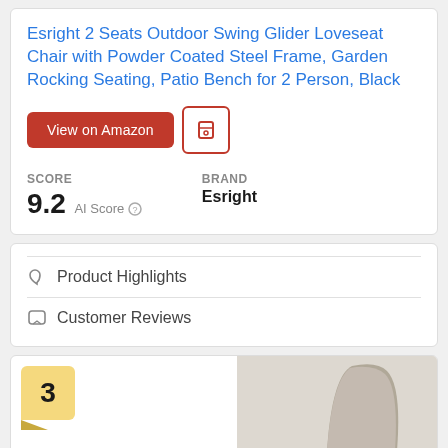Esright 2 Seats Outdoor Swing Glider Loveseat Chair with Powder Coated Steel Frame, Garden Rocking Seating, Patio Bench for 2 Person, Black
View on Amazon
SCORE
9.2 AI Score
Brand
Esright
Product Highlights
Customer Reviews
3